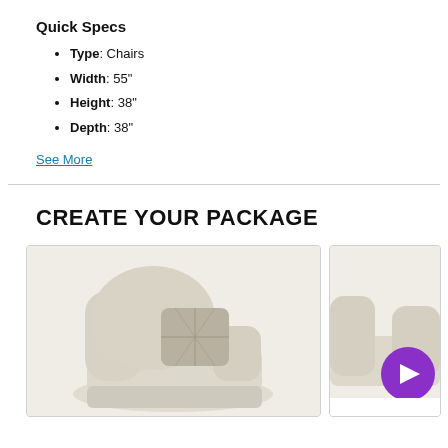Quick Specs
Type: Chairs
Width: 55"
Height: 38"
Depth: 38"
See More
CREATE YOUR PACKAGE
[Figure (photo): Beige upholstered chair with patterned throw pillow, shown in a product card with light border]
[Figure (photo): Partial view of a second product card with a purple circular play/video button icon overlay]